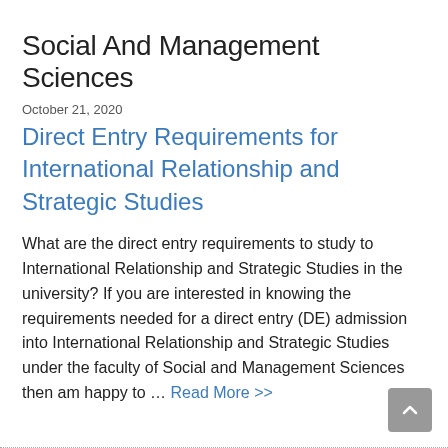Social And Management Sciences
October 21, 2020
Direct Entry Requirements for International Relationship and Strategic Studies
What are the direct entry requirements to study to International Relationship and Strategic Studies in the university? If you are interested in knowing the requirements needed for a direct entry (DE) admission into International Relationship and Strategic Studies under the faculty of Social and Management Sciences then am happy to … Read More >>